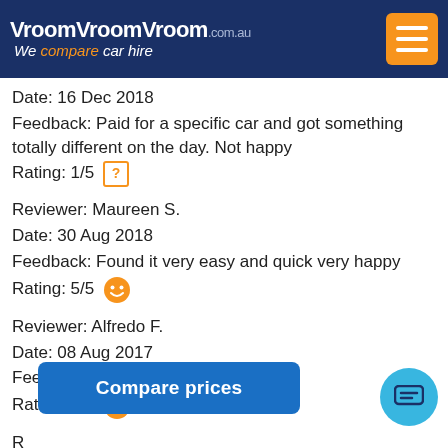VroomVroomVroom.com.au — We compare car hire
Date: 16 Dec 2018
Feedback: Paid for a specific car and got something totally different on the day. Not happy
Rating: 1/5
Reviewer: Maureen S.
Date: 30 Aug 2018
Feedback: Found it very easy and quick very happy
Rating: 5/5
Reviewer: Alfredo F.
Date: 08 Aug 2017
Feedback: great!
Rating: 5/5
R...
Date: 30 Jan 2017
Feedback: ...